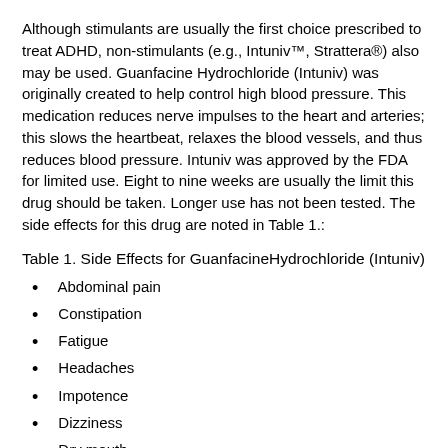Although stimulants are usually the first choice prescribed to treat ADHD, non-stimulants (e.g., Intuniv™, Strattera®) also may be used. Guanfacine Hydrochloride (Intuniv) was originally created to help control high blood pressure. This medication reduces nerve impulses to the heart and arteries; this slows the heartbeat, relaxes the blood vessels, and thus reduces blood pressure. Intuniv was approved by the FDA for limited use. Eight to nine weeks are usually the limit this drug should be taken. Longer use has not been tested. The side effects for this drug are noted in Table 1.:
Table 1. Side Effects for GuanfacineHydrochloride (Intuniv)
Abdominal pain
Constipation
Fatigue
Headaches
Impotence
Dizziness
Dry mouth